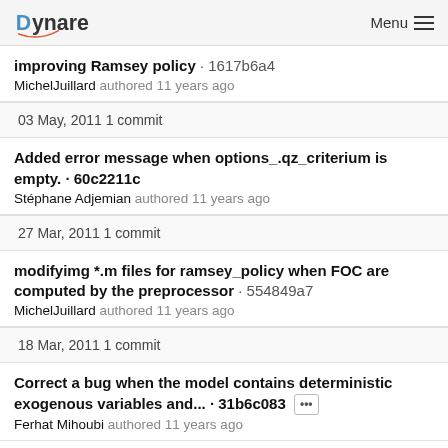Dynare Menu
improving Ramsey policy · 1617b6a4
MichelJuillard authored 11 years ago
03 May, 2011 1 commit
Added error message when options_.qz_criterium is empty. · 60c2211c
Stéphane Adjemian authored 11 years ago
27 Mar, 2011 1 commit
modifyimg *.m files for ramsey_policy when FOC are computed by the preprocessor · 554849a7
MichelJuillard authored 11 years ago
18 Mar, 2011 1 commit
Correct a bug when the model contains deterministic exogenous variables and... · 31b6c083 ···
Ferhat Mihoubi authored 11 years ago